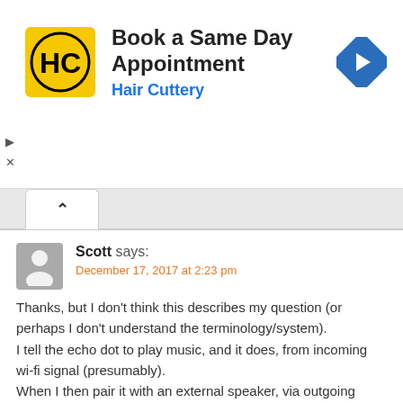[Figure (logo): Hair Cuttery advertisement banner with HC logo, text 'Book a Same Day Appointment' and 'Hair Cuttery', and a blue navigation arrow icon]
Scott says:
December 17, 2017 at 2:23 pm
Thanks, but I don't think this describes my question (or perhaps I don't understand the terminology/system).
I tell the echo dot to play music, and it does, from incoming wi-fi signal (presumably).
When I then pair it with an external speaker, via outgoing bluetooth, the internal speaker quits playing.
Or are you saying that the music I hear from the echo speaker and the music on the external speaker are both coming via my iPhone, but the phone can only do one destination or the other, but not both simultaneously?
Reply